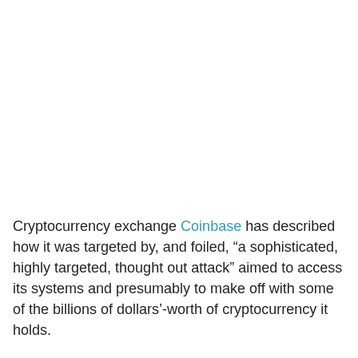Cryptocurrency exchange Coinbase has described how it was targeted by, and foiled, “a sophisticated, highly targeted, thought out attack” aimed to access its systems and presumably to make off with some of the billions of dollars’-worth of cryptocurrency it holds.
In an Aug. 8 blog post that sets out in technical detail how the